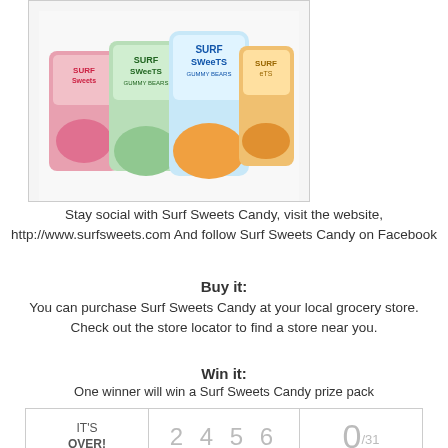[Figure (photo): Photo of multiple Surf Sweets candy packages including Gummy Bears and other varieties, displayed in a white-bordered box]
Stay social with Surf Sweets Candy, visit the website, http://www.surfsweets.com And follow Surf Sweets Candy on Facebook
Buy it:
You can purchase Surf Sweets Candy at your local grocery store. Check out the store locator to find a store near you.
Win it:
One winner will win a Surf Sweets Candy prize pack
| IT'S OVER! | 2 4 5 6 | 0/31 |
| --- | --- | --- |
| IT'S OVER! | 2 4 5 6 | 0/31 |
One winner will win a